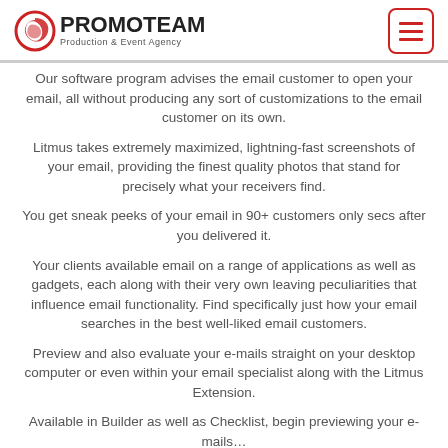PROMOTEAM Production & Event Agency
Our software program advises the email customer to open your email, all without producing any sort of customizations to the email customer on its own.
Litmus takes extremely maximized, lightning-fast screenshots of your email, providing the finest quality photos that stand for precisely what your receivers find.
You get sneak peeks of your email in 90+ customers only secs after you delivered it.
Your clients available email on a range of applications as well as gadgets, each along with their very own leaving peculiarities that influence email functionality. Find specifically just how your email searches in the best well-liked email customers.
Preview and also evaluate your e-mails straight on your desktop computer or even within your email specialist along with the Litmus Extension.
Available in Builder as well as Checklist, begin previewing your e-mails…